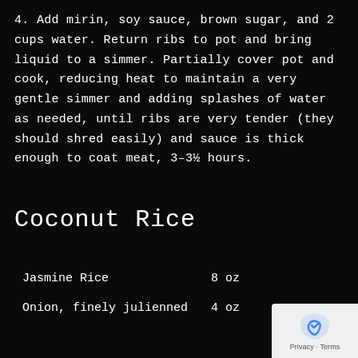4. Add mirin, soy sauce, brown sugar, and 2 cups water. Return ribs to pot and bring liquid to a simmer. Partially cover pot and cook, reducing heat to maintain a very gentle simmer and adding splashes of water as needed, until ribs are very tender (they should shred easily) and sauce is thick enough to coat meat, 3–3½ hours.
Coconut Rice
| Ingredient | Amount |
| --- | --- |
| Jasmine Rice | 8 oz |
| Onion, finely julienned | 4 oz |